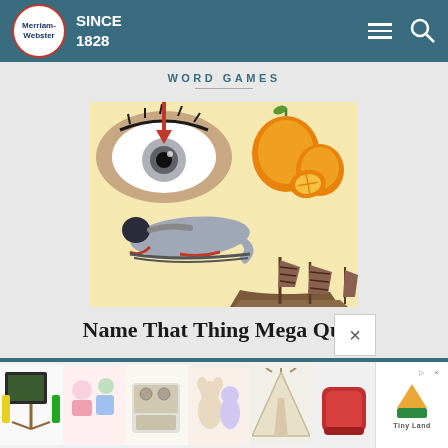Merriam-Webster SINCE 1828
WORD GAMES
[Figure (illustration): Collage image showing a close-up of an eye with a red arrow pointing down at the pupil, two orange kumquat fruits, a luge athlete in silver suit sliding, and a wooden junk sailboat with brown sails, all on a light yellow background.]
Name That Thing Mega Quiz!
Test your visual vocabulary!
TAKE THE QUIZ >
[Figure (photo): Advertisement strip at bottom showing thumbnail images of children's toys including an easel with chalkboard, colorful miniature play sets, a toy kitchen, stuffed animals, a teepee tent, a sleeping bag roll, and a Tiny Land logo ad unit.]